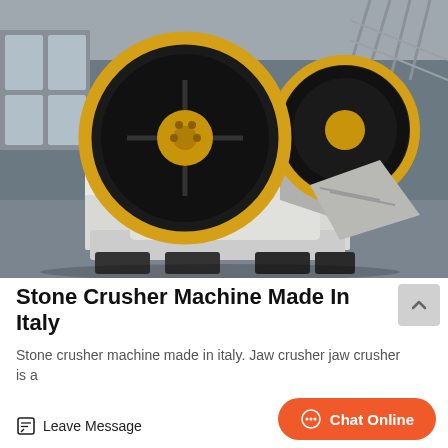[Figure (photo): Industrial jaw crusher machines with large black and yellow flywheel discs, white painted body, photographed in a factory/warehouse setting with steel structure visible in background.]
Stone Crusher Machine Made In Italy
Stone crusher machine made in italy. Jaw crusher jaw crusher is a